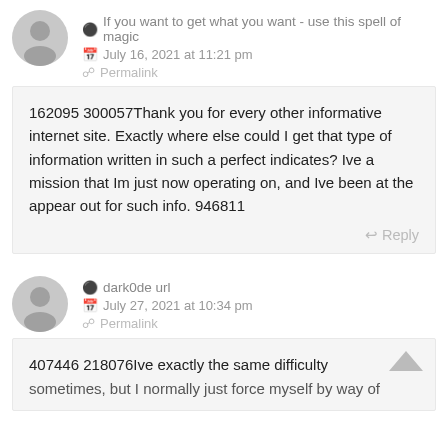If you want to get what you want - use this spell of magic
July 16, 2021 at 11:21 pm
Permalink
162095 300057Thank you for every other informative internet site. Exactly where else could I get that type of information written in such a perfect indicates? Ive a mission that Im just now operating on, and Ive been at the appear out for such info. 946811
Reply
dark0de url
July 27, 2021 at 10:34 pm
Permalink
407446 218076Ive exactly the same difficulty sometimes, but I normally just force myself by way of